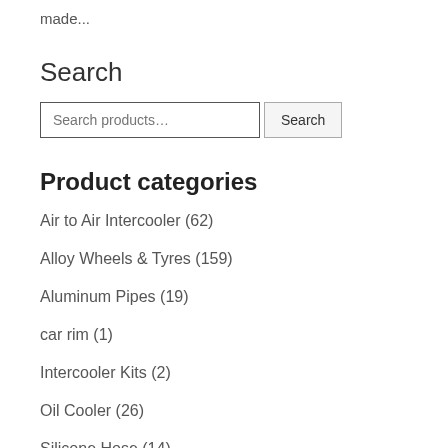made...
Search
Search products... Search
Product categories
Air to Air Intercooler (62)
Alloy Wheels & Tyres (159)
Aluminum Pipes (19)
car rim (1)
Intercooler Kits (2)
Oil Cooler (26)
Silicone Hose (14)
(2)
ercooler (29)
English